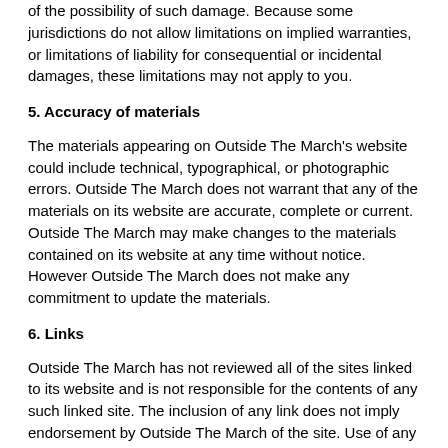of the possibility of such damage. Because some jurisdictions do not allow limitations on implied warranties, or limitations of liability for consequential or incidental damages, these limitations may not apply to you.
5. Accuracy of materials
The materials appearing on Outside The March's website could include technical, typographical, or photographical errors. Outside The March does not warrant that any of the materials on its website are accurate, complete or current. Outside The March may make changes to the materials contained on its website at any time without notice. However Outside The March does not make any commitment to update the materials.
6. Links
Outside The March has not reviewed all of the sites linked to its website and is not responsible for the contents of any such linked site. The inclusion of any link does not imply endorsement by Outside The March of the site. Use of any such linked website is at the user's own risk.
7. Modifications